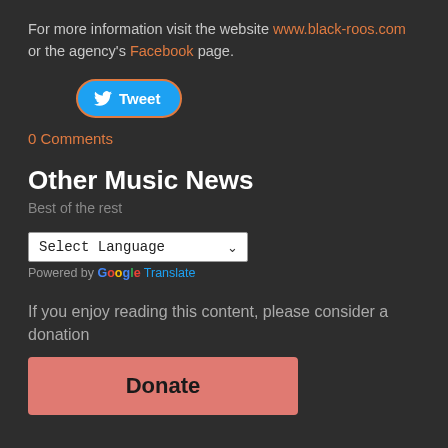For more information visit the website www.black-roos.com or the agency's Facebook page.
[Figure (other): Twitter Tweet button with bird icon, blue rounded pill shape with orange border]
0 Comments
Other Music News
Best of the rest
[Figure (other): Google Translate language selector dropdown showing 'Select Language' with dropdown arrow, and 'Powered by Google Translate' text below]
If you enjoy reading this content, please consider a donation
[Figure (other): Donate button, salmon/coral colored rounded rectangle]